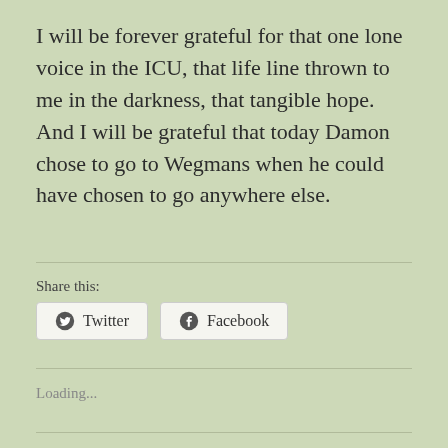I will be forever grateful for that one lone voice in the ICU, that life line thrown to me in the darkness, that tangible hope. And I will be grateful that today Damon chose to go to Wegmans when he could have chosen to go anywhere else.
Share this:
[Figure (other): Share buttons for Twitter and Facebook]
Loading...